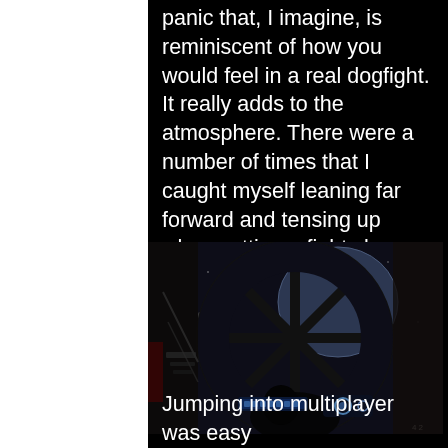panic that, I imagine, is reminiscent of how you would feel in a real dogfight. It really adds to the atmosphere. There were a number of times that I caught myself leaning far forward and tensing up when cutting a fight close. To me, this is a sign of a truly immersive game experience.
[Figure (screenshot): Screenshot from a space combat game showing the cockpit view of a TIE fighter with the iconic hexagonal window frame, looking out into space with enemy ships and a planet visible in the background.]
Jumping into multiplayer was easy